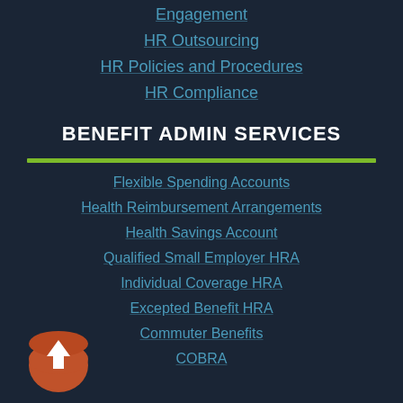Engagement
HR Outsourcing
HR Policies and Procedures
HR Compliance
BENEFIT ADMIN SERVICES
Flexible Spending Accounts
Health Reimbursement Arrangements
Health Savings Account
Qualified Small Employer HRA
Individual Coverage HRA
Excepted Benefit HRA
Commuter Benefits
COBRA